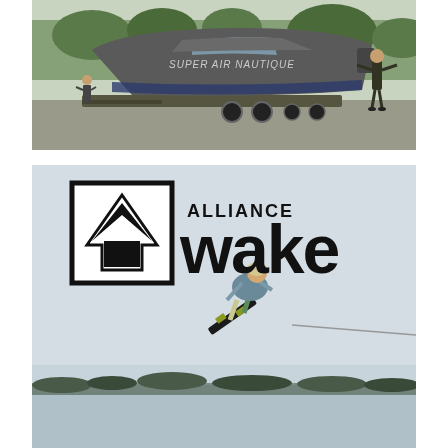[Figure (photo): A gray Super Air Nautique boat on a trailer in a parking lot. A person stands to the right of the boat with arms outstretched. Trees visible in background.]
[Figure (photo): Alliance Wake magazine logo (square with chevron/arrow icon and text 'ALLIANCE wake') overlaid on a photo of a wakeboarder performing an aerial trick while being towed by a rope over a calm lake. Trees visible in distant background.]